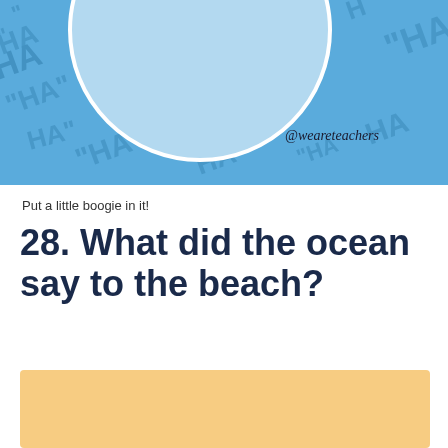[Figure (illustration): Blue background illustration with 'HA' text pattern repeated, a large light blue circle in the center with a white border, and '@weareteachers' watermark in the bottom right in a handwritten font.]
Put a little boogie in it!
28. What did the ocean say to the beach?
[Figure (illustration): Sandy/tan colored rectangle, representing the answer area or a beach-themed answer reveal panel.]